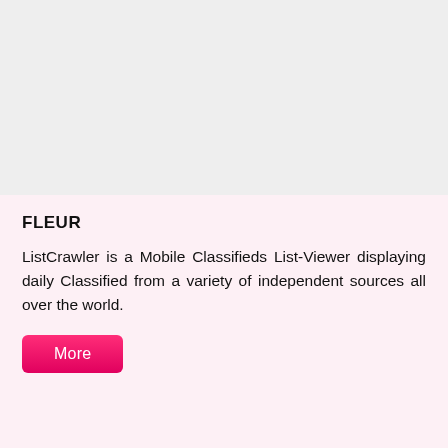[Figure (photo): Light gray placeholder image area at the top of the page]
FLEUR
ListCrawler is a Mobile Classifieds List-Viewer displaying daily Classified from a variety of independent sources all over the world.
More